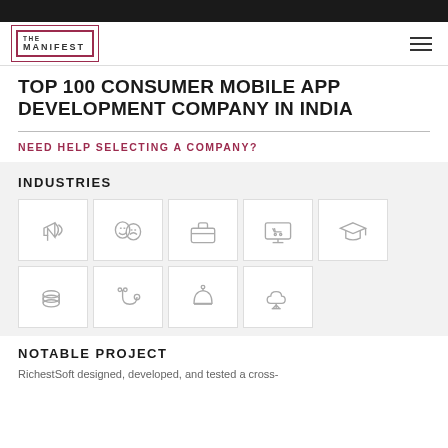[Figure (logo): The Manifest logo — square bracket border with THE MANIFEST text]
TOP 100 CONSUMER MOBILE APP DEVELOPMENT COMPANY IN INDIA
NEED HELP SELECTING A COMPANY?
INDUSTRIES
[Figure (infographic): Industry icons grid: megaphone/advertising, theater masks/entertainment, briefcase/business, computer shopping cart/ecommerce, graduation cap/education, coins/finance, stethoscope/healthcare, hotel bell/hospitality, cloud tree/technology]
NOTABLE PROJECT
RichestSoft designed, developed, and tested a cross-